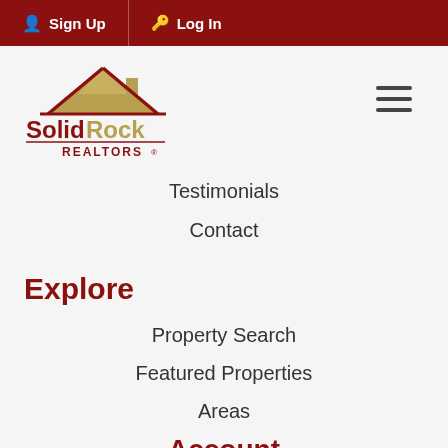Sign Up  Log In
[Figure (logo): Solid Rock Realtors logo with house roof icon, dark red and gold colors]
Testimonials
Contact
Explore
Property Search
Featured Properties
Areas
Account
Login